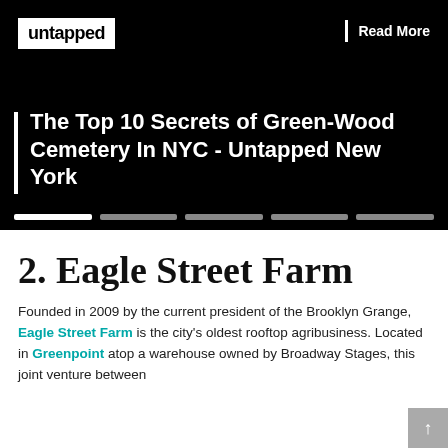[Figure (screenshot): Hero banner image with black background showing 'untapped' logo in white box top-left, 'Read More' text top-right, article title overlay at bottom with white vertical bar accent, and slider dots at bottom]
The Top 10 Secrets of Green-Wood Cemetery In NYC - Untapped New York
2. Eagle Street Farm
Founded in 2009 by the current president of the Brooklyn Grange, Eagle Street Farm is the city's oldest rooftop agribusiness. Located in Greenpoint atop a warehouse owned by Broadway Stages, this joint venture between